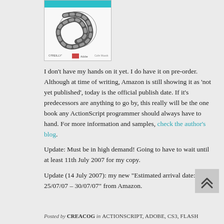[Figure (photo): Book cover of an O'Reilly ActionScript CS3/Flash programming book, featuring a snake illustration on a white/teal background]
I don't have my hands on it yet. I do have it on pre-order. Although at time of writing, Amazon is still showing it as ‘not yet published’, today is the official publish date. If it’s predecessors are anything to go by, this really will be the one book any ActionScript programmer should always have to hand. For more information and samples, check the author’s blog.
Update: Must be in high demand! Going to have to wait until at least 11th July 2007 for my copy.
Update (14 July 2007): my new “Estimated arrival date: 25/07/07 – 30/07/07” from Amazon.
Posted by CREACOG in ACTIONSCRIPT, ADOBE, CS3, FLASH